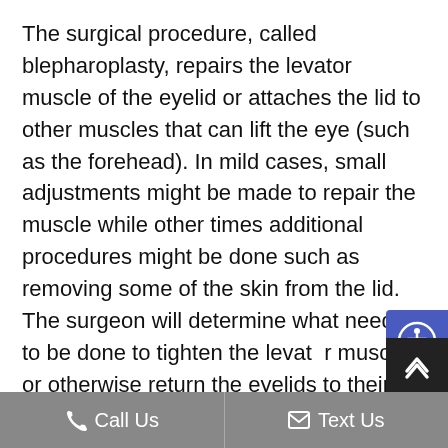The surgical procedure, called blepharoplasty, repairs the levator muscle of the eyelid or attaches the lid to other muscles that can lift the eye (such as the forehead). In mild cases, small adjustments might be made to repair the muscle while other times additional procedures might be done such as removing some of the skin from the lid. The surgeon will determine what needs to be done to tighten the levator muscles or otherwise return the eyelids to their normal position. As with any surgical procedure there are risks to this surgery an
Call Us   Text Us